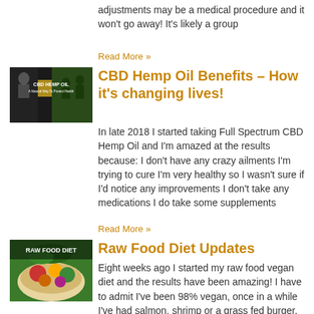adjustments may be a medical procedure and it won't go away! It's likely a group
Read More »
[Figure (photo): CBD Hemp Oil promotional image with text 'CBD HEMP OIL' on a dark background with a person silhouette]
CBD Hemp Oil Benefits – How it's changing lives!
In late 2018 I started taking Full Spectrum CBD Hemp Oil and I'm amazed at the results because: I don't have any crazy ailments I'm trying to cure I'm very healthy so I wasn't sure if I'd notice any improvements I don't take any medications I do take some supplements
Read More »
[Figure (photo): Raw Food Diet image showing a bowl of colorful vegetables with text 'RAW FOOD DIET' overlay]
Raw Food Diet Updates
Eight weeks ago I started my raw food vegan diet and the results have been amazing! I have to admit I've been 98% vegan, once in a while I've had salmon, shrimp or a grass fed burger. I'm not worried about animal protein if I know where it's sourced from